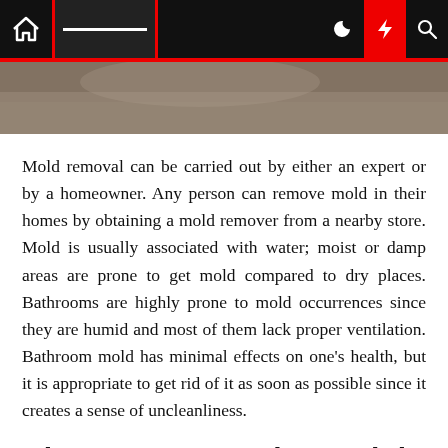[Figure (screenshot): Website navigation bar with home icon, hamburger menu, moon icon, red lightning bolt icon, and search icon on dark background]
[Figure (photo): Partial photo strip showing a mold or bathroom-related image, cropped at top]
Mold removal can be carried out by either an expert or by a homeowner. Any person can remove mold in their homes by obtaining a mold remover from a nearby store. Mold is usually associated with water; moist or damp areas are prone to get mold compared to dry places. Bathrooms are highly prone to mold occurrences since they are humid and most of them lack proper ventilation. Bathroom mold has minimal effects on one's health, but it is appropriate to get rid of it as soon as possible since it creates a sense of uncleanliness.
Circumstances that might require hiring a mold remediation specialist